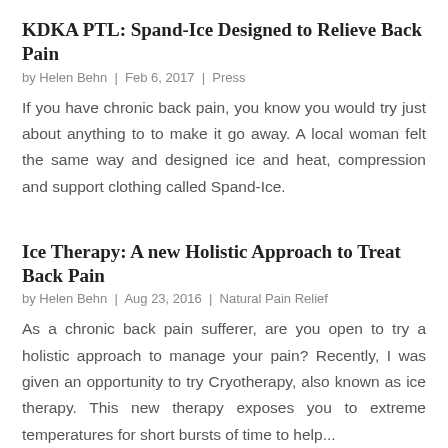KDKA PTL: Spand-Ice Designed to Relieve Back Pain
by Helen Behn  |  Feb 6, 2017  |  Press
If you have chronic back pain, you know you would try just about anything to to make it go away. A local woman felt the same way and designed ice and heat, compression and support clothing called Spand-Ice.
Ice Therapy: A new Holistic Approach to Treat Back Pain
by Helen Behn  |  Aug 23, 2016  |  Natural Pain Relief
As a chronic back pain sufferer, are you open to try a holistic approach to manage your pain? Recently, I was given an opportunity to try Cryotherapy, also known as ice therapy. This new therapy exposes you to extreme temperatures for short bursts of time to help...